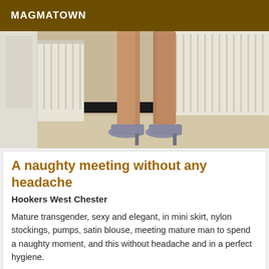MAGMATOWN
[Figure (photo): Close-up photo of legs in high heels (silver platform pumps) standing on a floor next to a white radiator]
A naughty meeting without any headache
Hookers West Chester
Mature transgender, sexy and elegant, in mini skirt, nylon stockings, pumps, satin blouse, meeting mature man to spend a naughty moment, and this without headache and in a perfect hygiene.
[Figure (photo): Partial photo visible at bottom of page, appears to show a person]